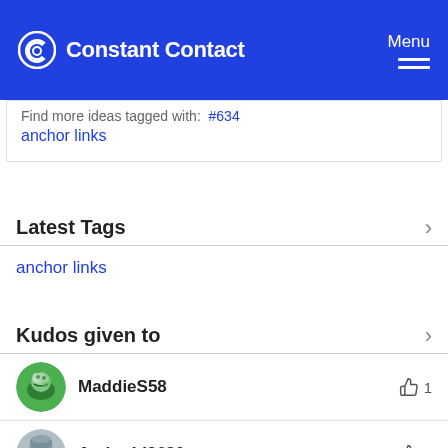Constant Contact | Menu
Find more ideas tagged with: #634 anchor links
Latest Tags
anchor links
Kudos given to
MaddieS58 👍 1
AmberLI9680 👍 1